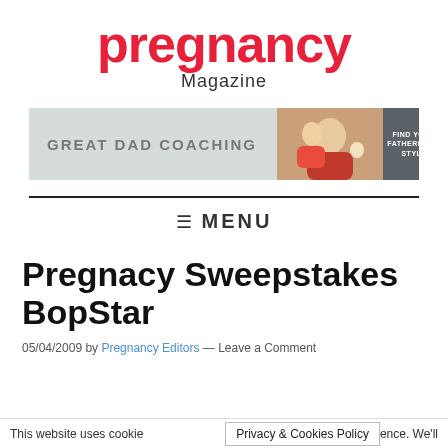pregnancy Magazine
[Figure (illustration): Great Dad Coaching advertisement banner with text on light green-gray background, family photo in the middle, and 'Find Your Fatherhood Style' on dark gray right panel]
MENU
Pregnacy Sweepstakes BopStar
05/04/2009 by Pregnancy Editors — Leave a Comment
This website uses cookie  ence. We'll